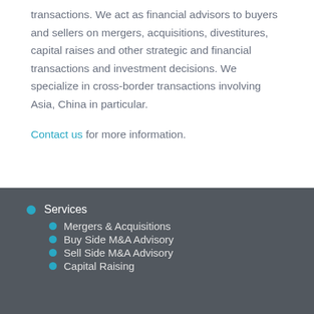transactions. We act as financial advisors to buyers and sellers on mergers, acquisitions, divestitures, capital raises and other strategic and financial transactions and investment decisions. We specialize in cross-border transactions involving Asia, China in particular.
Contact us for more information.
Services
Mergers & Acquisitions
Buy Side M&A Advisory
Sell Side M&A Advisory
Capital Raising